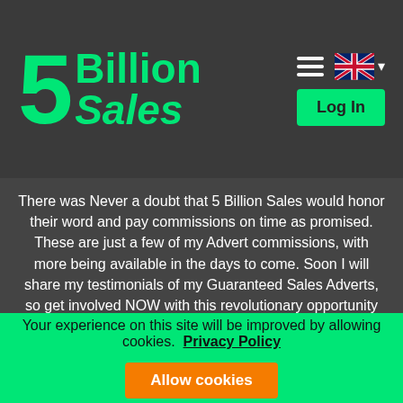5 Billion Sales
There was Never a doubt that 5 Billion Sales would honor their word and pay commissions on time as promised. These are just a few of my Advert commissions, with more being available in the days to come. Soon I will share my testimonials of my Guaranteed Sales Adverts, so get involved NOW with this revolutionary opportunity and company! You are losing money if you do not...
baldwinbitcoin - United States of America
Your experience on this site will be improved by allowing cookies. Privacy Policy Allow cookies